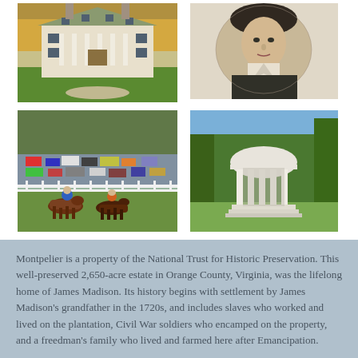[Figure (photo): Montpelier estate house — a white colonial mansion with green lawn and trees in autumn foliage]
[Figure (photo): Portrait illustration of James Madison in period clothing]
[Figure (photo): Horse racing scene at Montpelier with crowds watching jockeys on horses at a track]
[Figure (photo): White circular temple/rotunda structure surrounded by tall trees on green lawn]
Montpelier is a property of the National Trust for Historic Preservation. This well-preserved 2,650-acre estate in Orange County, Virginia, was the lifelong home of James Madison. Its history begins with settlement by James Madison's grandfather in the 1720s, and includes slaves who worked and lived on the plantation, Civil War soldiers who encamped on the property, and a freedman's family who lived and farmed here after Emancipation.
In 1901 Montpelier was purchased by